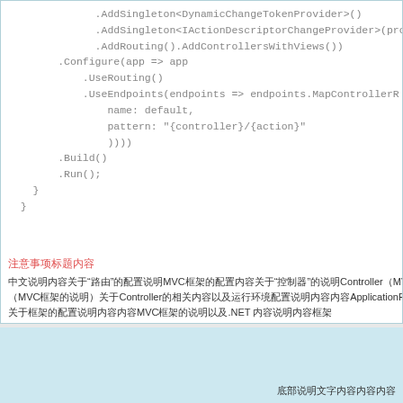.AddSingleton<DynamicChangeTokenProvider>()
.AddSingleton<IActionDescriptorChangeProvider>(prov
.AddRouting().AddControllersWithViews())
.Configure(app => app
    .UseRouting()
    .UseEndpoints(endpoints => endpoints.MapControllerR
        name: default,
        pattern: "{controller}/{action}"
        ))))
.Build()
.Run();
}
}
注意事项标题
中文说明内容关于MVC框架的配置说明关于控制器Controller和MVC的Co
MVC内容说明关于Controller的相关内容以及ApplicationP
关于MVC框架的说明以及.NET相关内容
底部说明文字内容